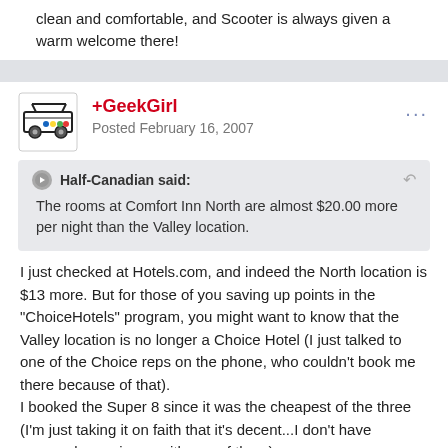clean and comfortable, and Scooter is always given a warm welcome there!
+GeekGirl
Posted February 16, 2007
Half-Canadian said:
The rooms at Comfort Inn North are almost $20.00 more per night than the Valley location.
I just checked at Hotels.com, and indeed the North location is $13 more. But for those of you saving up points in the "ChoiceHotels" program, you might want to know that the Valley location is no longer a Choice Hotel (I just talked to one of the Choice reps on the phone, who couldn't book me there because of that).
I booked the Super 8 since it was the cheapest of the three (I'm just taking it on faith that it's decent...I don't have personal experience with any of them).